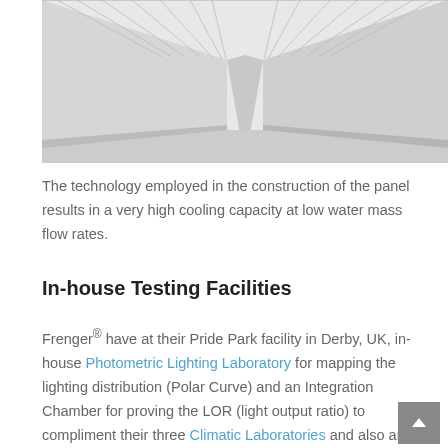[Figure (photo): Interior corner of a white panelled room/chamber, showing vertical white panels meeting at a corner with a light grey floor, photographed from a low angle looking upward.]
The technology employed in the construction of the panel results in a very high cooling capacity at low water mass flow rates.
In-house Testing Facilities
Frenger® have at their Pride Park facility in Derby, UK, in-house Photometric Lighting Laboratory for mapping the lighting distribution (Polar Curve) and an Integration Chamber for proving the LOR (light output ratio) to compliment their three Climatic Laboratories and also an